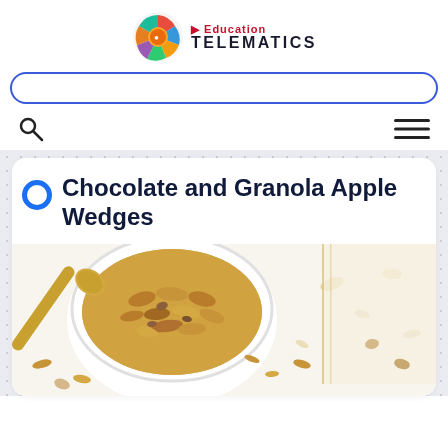[Figure (logo): Education Telematics logo with colorful circular icon and text]
[Figure (other): Search bar with blue border and rounded corners]
[Figure (other): Navigation icons: search magnifying glass on left, hamburger menu on right]
Chocolate and Granola Apple Wedges
[Figure (photo): Close-up photo of a white bowl filled with granola and a gold spoon, scattered oats and nuts on white surface with gold/yellow fabric]